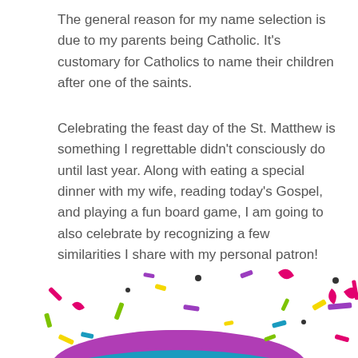The general reason for my name selection is due to my parents being Catholic. It's customary for Catholics to name their children after one of the saints.
Celebrating the feast day of the St. Matthew is something I regrettable didn't consciously do until last year. Along with eating a special dinner with my wife, reading today's Gospel, and playing a fun board game, I am going to also celebrate by recognizing a few similarities I share with my personal patron!
[Figure (illustration): Colorful confetti scattered in the air above a partially visible circular purple/teal celebration cake or party decoration at the bottom of the image]